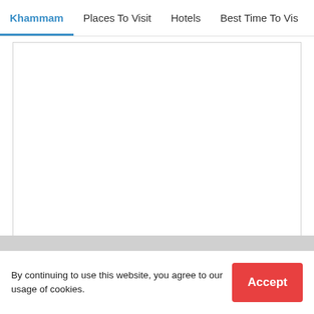Khammam | Places To Visit | Hotels | Best Time To Vis
[Figure (other): Empty white map/content area with border]
By continuing to use this website, you agree to our usage of cookies.
Accept